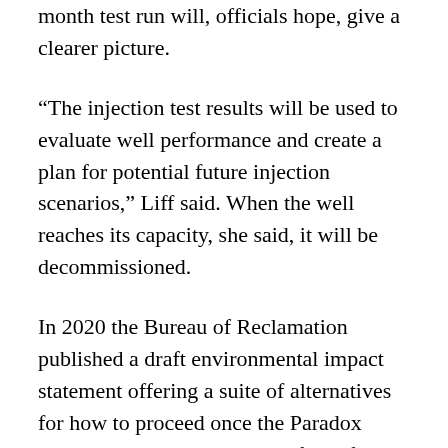month test run will, officials hope, give a clearer picture.
“The injection test results will be used to evaluate well performance and create a plan for potential future injection scenarios,” Liff said. When the well reaches its capacity, she said, it will be decommissioned.
In 2020 the Bureau of Reclamation published a draft environmental impact statement offering a suite of alternatives for how to proceed once the Paradox Valley Unit reaches the end of its life. [See “Aging infrastructure affecting the Dolores River,”